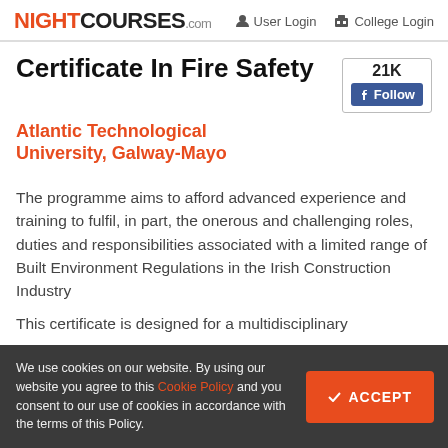NIGHTCOURSES.com | User Login | College Login
Certificate In Fire Safety
Atlantic Technological University, Galway-Mayo
The programme aims to afford advanced experience and training to fulfil, in part, the onerous and challenging roles, duties and responsibilities associated with a limited range of Built Environment Regulations in the Irish Construction Industry
This certificate is designed for a multidisciplinary
We use cookies on our website. By using our website you agree to this Cookie Policy and you consent to our use of cookies in accordance with the terms of this Policy.